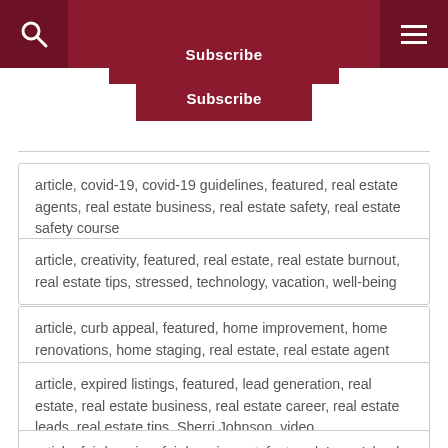Subscribe
article, covid-19, covid-19 guidelines, featured, real estate agents, real estate business, real estate safety, real estate safety course
article, creativity, featured, real estate, real estate burnout, real estate tips, stressed, technology, vacation, well-being
article, curb appeal, featured, home improvement, home renovations, home staging, real estate, real estate agent
article, expired listings, featured, lead generation, real estate, real estate business, real estate career, real estate leads, real estate tips, Sherri Johnson, video
article, fair housing, fair housing act, featured, Long Island